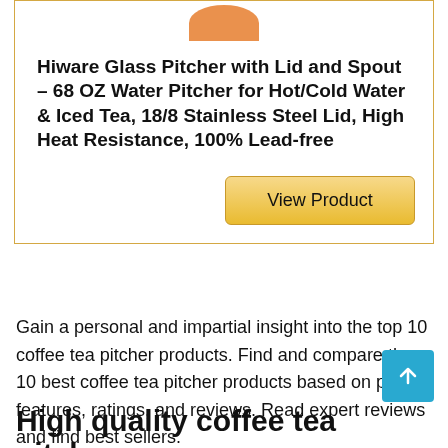[Figure (photo): Partial view of an orange product image at the top of a product card]
Hiware Glass Pitcher with Lid and Spout – 68 OZ Water Pitcher for Hot/Cold Water & Iced Tea, 18/8 Stainless Steel Lid, High Heat Resistance, 100% Lead-free
View Product
Gain a personal and impartial insight into the top 10 coffee tea pitcher products. Find and compare the 10 best coffee tea pitcher products based on price, features, ratings, and reviews. Read expert reviews and find best sellers.
High quality coffee tea pitcher